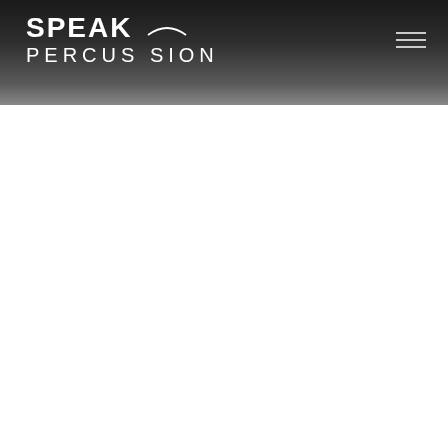SPEAK PERCUSSION
[Figure (logo): Speak Percussion logo with arc graphic above PERCUS SION text, white text on dark gradient background, with hamburger menu icon top right]